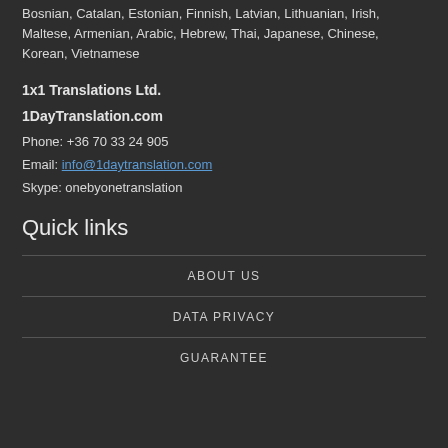Bosnian, Catalan, Estonian, Finnish, Latvian, Lithuanian, Irish, Maltese, Armenian, Arabic, Hebrew, Thai, Japanese, Chinese, Korean, Vietnamese
1x1 Translations Ltd.
1DayTranslation.com
Phone: +36 70 33 24 905
Email: info@1daytranslation.com
Skype: onebyonetranslation
Quick links
ABOUT US
DATA PRIVACY
GUARANTEE